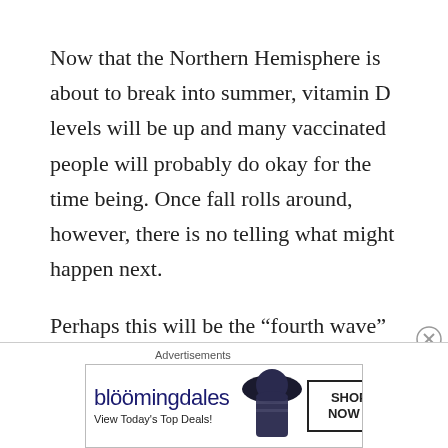Now that the Northern Hemisphere is about to break into summer, vitamin D levels will be up and many vaccinated people will probably do okay for the time being. Once fall rolls around, however, there is no telling what might happen next.
Perhaps this will be the “fourth wave” – or are we on the fifth wave now? – of the Chinese Virus that fake doctors like Anthony Fauci have been threatening us with if we take our masks off “too
Advertisements
[Figure (other): Bloomingdale's advertisement banner showing the bloomingdales logo, tagline 'View Today's Top Deals!', a woman wearing a large dark brimmed hat, and a 'SHOP NOW >' button.]